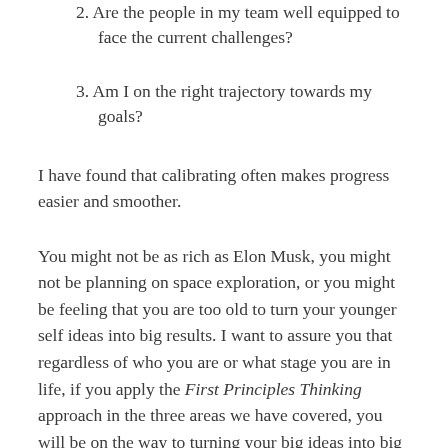2. Are the people in my team well equipped to face the current challenges?
3. Am I on the right trajectory towards my goals?
I have found that calibrating often makes progress easier and smoother.
You might not be as rich as Elon Musk, you might not be planning on space exploration, or you might be feeling that you are too old to turn your younger self ideas into big results. I want to assure you that regardless of who you are or what stage you are in life, if you apply the First Principles Thinking approach in the three areas we have covered, you will be on the way to turning your big ideas into big results. If Colonel Sanders, founder of the Kentucky Fried Chicken, turned the idea of a “secret recipe” for frying chicken